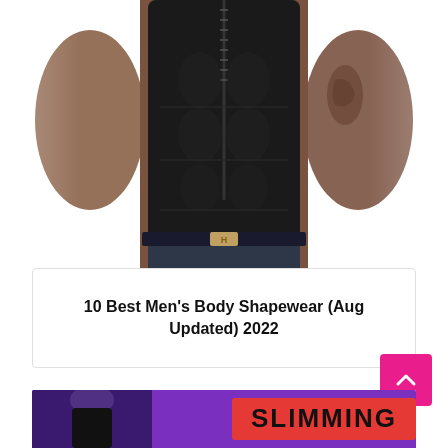[Figure (photo): A muscular man wearing a black body shapewear vest/compression shirt, showing defined abs through the tight black fabric. He is wearing dark jeans with a belt. The image is cropped at the shoulders/neck level at the top and at the waist at the bottom.]
10 Best Men’s Body Shapewear (Aug Updated) 2022
[Figure (photo): Bottom portion of another image showing a man in a black slimming vest on a purple background with the word SLIMMING partially visible in large bold text on the right side.]